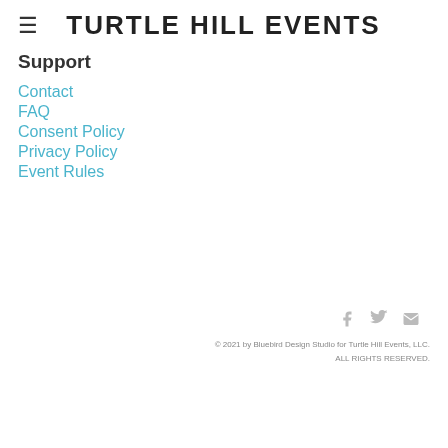TURTLE HILL EVENTS
Support
Contact
FAQ
Consent Policy
Privacy Policy
Event Rules
© 2021 by Bluebird Design Studio for Turtle Hill Events, LLC.
ALL RIGHTS RESERVED.